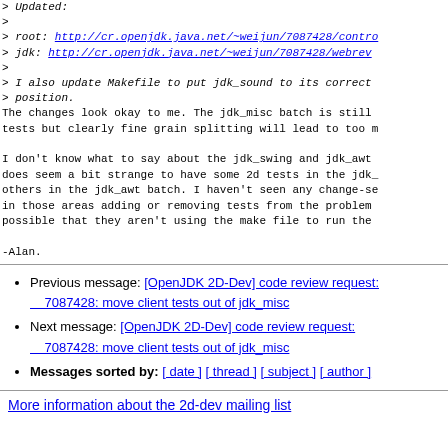> Updated:
>
> root: http://cr.openjdk.java.net/~weijun/7087428/contro
> jdk: http://cr.openjdk.java.net/~weijun/7087428/webrev
>
> I also update Makefile to put jdk_sound to its correct
> position.
The changes look okay to me. The jdk_misc batch is still
tests but clearly fine grain splitting will lead to too m

I don't know what to say about the jdk_swing and jdk_awt
does seem a bit strange to have some 2d tests in the jdk_
others in the jdk_awt batch. I haven't seen any change-se
in those areas adding or removing tests from the problem
possible that they aren't using the make file to run the

-Alan.
Previous message: [OpenJDK 2D-Dev] code review request: 7087428: move client tests out of jdk_misc
Next message: [OpenJDK 2D-Dev] code review request: 7087428: move client tests out of jdk_misc
Messages sorted by: [ date ] [ thread ] [ subject ] [ author ]
More information about the 2d-dev mailing list